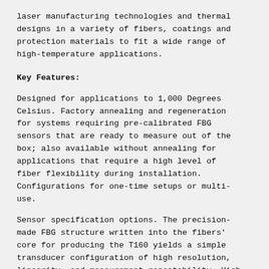laser manufacturing technologies and thermal designs in a variety of fibers, coatings and protection materials to fit a wide range of high-temperature applications.
Key Features:
Designed for applications to 1,000 Degrees Celsius. Factory annealing and regeneration for systems requiring pre-calibrated FBG sensors that are ready to measure out of the box; also available without annealing for applications that require a high level of fiber flexibility during installation. Configurations for one-time setups or multi-use.
Sensor specification options. The precision-made FBG structure written into the fibers' core for producing the T160 yields a simple transducer configuration of high resolution, linearity, and measurement repeatability. High SLSR and customer-specified BW for clear signal processing. Sensor length and spacing